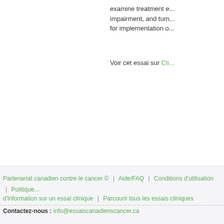examine treatment e... impairment, and tum... for implementation o...
Voir cet essai sur Cli...
Intéres...
Imprimez c... discuter de... traitement.... pour un es...
Partenariat canadien contre le cancer © | Aide/FAQ | Conditions d'utilisation | Politique... d'information sur un essai clinique | Parcourir tous les essais cliniques
Contactez-nous : info@essaiscanadienscancer.ca